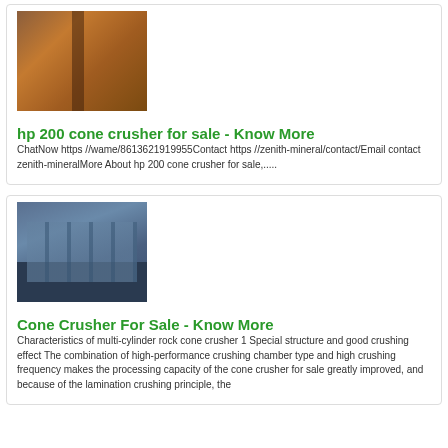[Figure (photo): Photo of a metal drilling/milling machine working on a metal surface, brown/orange tones]
hp 200 cone crusher for sale - Know More
ChatNow https //wame/8613621919955Contact https //zenith-mineral/contact/Email contact zenith-mineralMore About hp 200 cone crusher for sale,.....
[Figure (photo): Photo of gray metal cone crusher parts/molds stacked together on a blue platform]
Cone Crusher For Sale - Know More
Characteristics of multi-cylinder rock cone crusher 1 Special structure and good crushing effect The combination of high-performance crushing chamber type and high crushing frequency makes the processing capacity of the cone crusher for sale greatly improved, and because of the lamination crushing principle, the